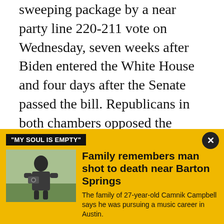sweeping package by a near party line 220-211 vote on Wednesday, seven weeks after Biden entered the White House and four days after the Senate passed the bill. Republicans in both chambers opposed the legislation unanimously, characterizing it as bloated, crammed with liberal policies and heedless of signs the crises are easing.
No Republicans attended the Rose Garden victory lap.
Biden had originally planned to sign the bill on Friday, but it arrived at the White House more quickly than
"MY SOUL IS EMPTY"
[Figure (photo): Photo of a man standing outdoors holding a camera, with a green field in the background.]
Family remembers man shot to death near Barton Springs
The family of 27-year-old Camnik Campbell says he was pursuing a music career in Austin.